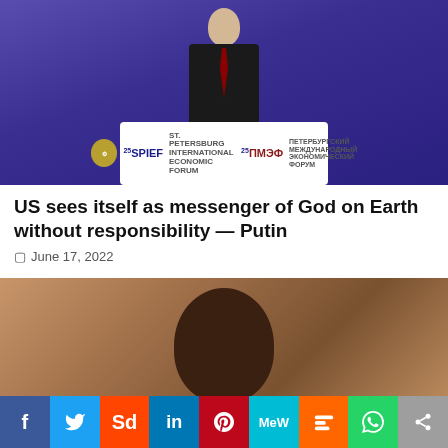[Figure (photo): Man in dark suit speaking at SPIEF (St. Petersburg International Economic Forum) podium with purple/blue background, 25th SPIEF logo visible on white podium sign]
US sees itself as messenger of God on Earth without responsibility — Putin
June 17, 2022
[Figure (photo): Close-up of a thin Black man in white t-shirt with hands clasped near his chin, in a thoughtful or contemplative pose, blurred background with other people]
[Figure (infographic): Social media sharing bar with Facebook, Twitter, Reddit, LinkedIn, Pinterest, MeWe, Mix, WhatsApp, and share buttons]